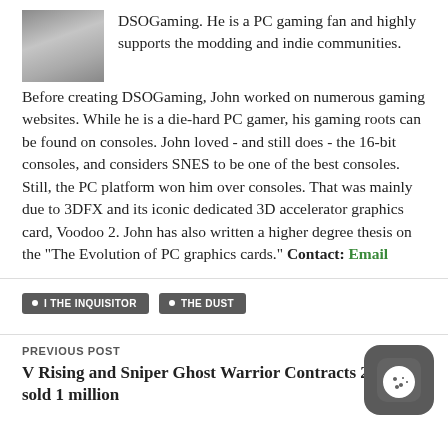[Figure (photo): Small author photo thumbnail showing a person]
DSOGaming. He is a PC gaming fan and highly supports the modding and indie communities. Before creating DSOGaming, John worked on numerous gaming websites. While he is a die-hard PC gamer, his gaming roots can be found on consoles. John loved - and still does - the 16-bit consoles, and considers SNES to be one of the best consoles. Still, the PC platform won him over consoles. That was mainly due to 3DFX and its iconic dedicated 3D accelerator graphics card, Voodoo 2. John has also written a higher degree thesis on the "The Evolution of PC graphics cards." Contact: Email
I THE INQUISITOR
THE DUST
PREVIOUS POST
V Rising and Sniper Ghost Warrior Contracts 2 have sold 1 million